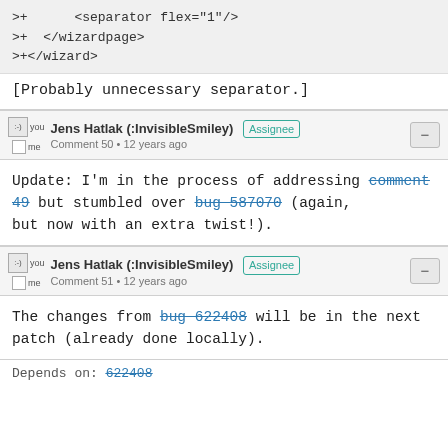>+      <separator flex="1"/>
>+  </wizardpage>
>+</wizard>
[Probably unnecessary separator.]
Jens Hatlak (:InvisibleSmiley) Assignee
Comment 50 • 12 years ago
Update: I'm in the process of addressing comment 49 but stumbled over bug 587070 (again, but now with an extra twist!).
Jens Hatlak (:InvisibleSmiley) Assignee
Comment 51 • 12 years ago
The changes from bug 622408 will be in the next patch (already done locally).
Depends on: 622408